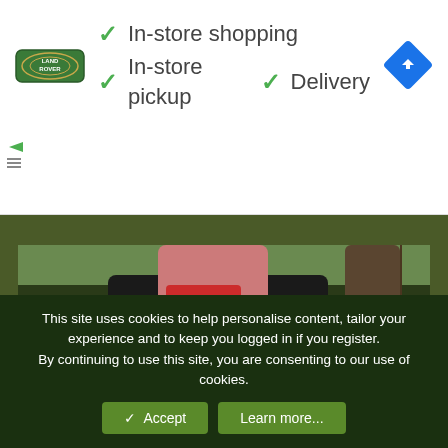[Figure (screenshot): Online advertisement banner for Land Rover showing green checkmarks with text: In-store shopping, In-store pickup, Delivery. Land Rover logo on left, blue navigation diamond icon on right.]
[Figure (photo): Photo of a person wearing a red top with a white heart graphic reading #Forward For Everyone, a black blazer, and a red polka dot face mask. In the background are red George Chahal campaign signs and trees.]
This site uses cookies to help personalise content, tailor your experience and to keep you logged in if you register. By continuing to use this site, you are consenting to our use of cookies.